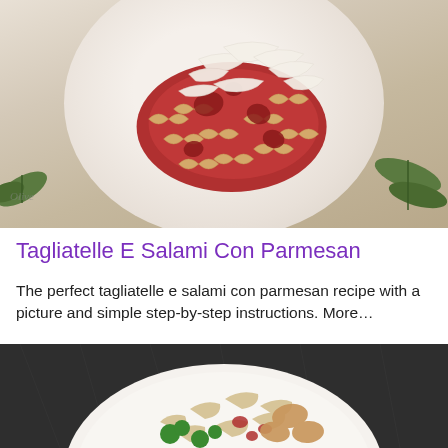[Figure (photo): A plate of farfalle (bow-tie) pasta with red sauce, salami, and large shavings of parmesan cheese on top, placed on a white decorative plate with olive leaves on sides]
Tagliatelle E Salami Con Parmesan
The perfect tagliatelle e salami con parmesan recipe with a picture and simple step-by-step instructions. More...
[Figure (photo): A white plate with pasta, broccoli, chicken pieces, and tomato on a dark granite surface]